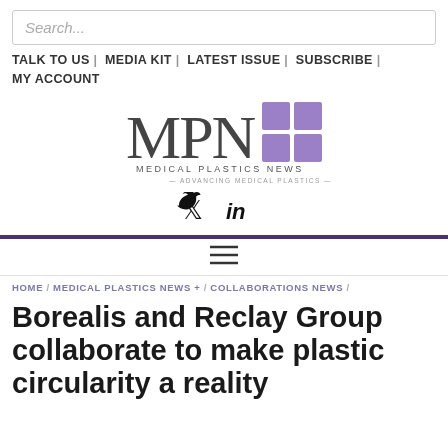Search...
TALK TO US | MEDIA KIT | LATEST ISSUE | SUBSCRIBE | MY ACCOUNT
[Figure (logo): MPN Medical Plastics News logo with purple grid squares and tagline 'Advancing Medical Plastics']
[Figure (other): Twitter and LinkedIn social media icons]
≡ (hamburger menu icon)
HOME / MEDICAL PLASTICS NEWS + / COLLABORATIONS NEWS /
Borealis and Reclay Group collaborate to make plastic circularity a reality